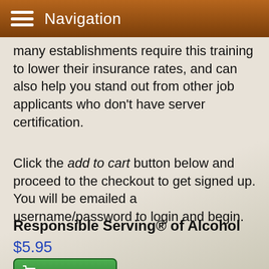Navigation
many establishments require this training to lower their insurance rates, and can also help you stand out from other job applicants who don't have server certification.
Click the add to cart button below and proceed to the checkout to get signed up. You will be emailed a username/password to login and begin.
Responsible Serving® of Alcohol
$5.95
Add to Cart